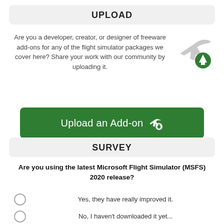UPLOAD
Are you a developer, creator, or designer of freeware add-ons for any of the flight simulator packages we cover here? Share your work with our community by uploading it.
[Figure (illustration): Gray airplane silhouette with a green circle and white upward arrow icon]
Upload an Add-on
SURVEY
Are you using the latest Microsoft Flight Simulator (MSFS) 2020 release?
Yes, they have really improved it.
No, I haven't downloaded it yet...
I'm going to stick with my original FSX.
I haven't even moved to FSX, I'm sticking with FS2004.
No, X-Plane 11 all the way!